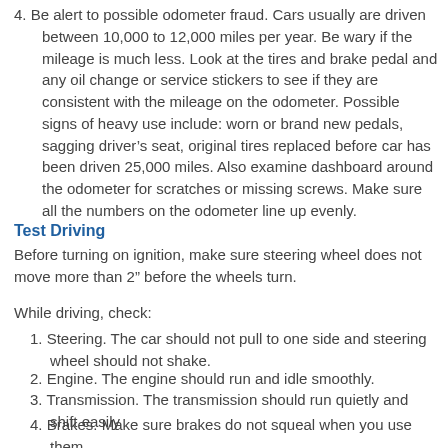4. Be alert to possible odometer fraud. Cars usually are driven between 10,000 to 12,000 miles per year. Be wary if the mileage is much less. Look at the tires and brake pedal and any oil change or service stickers to see if they are consistent with the mileage on the odometer. Possible signs of heavy use include: worn or brand new pedals, sagging driver’s seat, original tires replaced before car has been driven 25,000 miles. Also examine dashboard around the odometer for scratches or missing screws. Make sure all the numbers on the odometer line up evenly.
Test Driving
Before turning on ignition, make sure steering wheel does not move more than 2” before the wheels turn.
While driving, check:
1. Steering. The car should not pull to one side and steering wheel should not shake.
2. Engine. The engine should run and idle smoothly.
3. Transmission. The transmission should run quietly and shift easily
4. Brakes. Make sure brakes do not squeal when you use them.